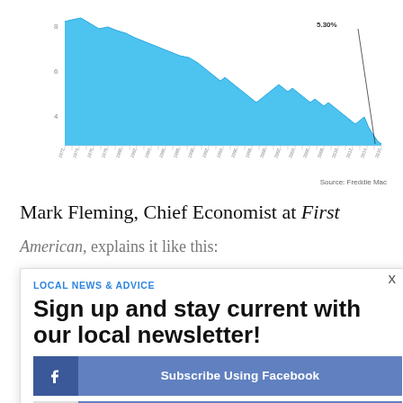[Figure (area-chart): Area chart showing 30-year fixed mortgage rate over time, ending at 5.30%, with a large blue filled area and dense x-axis date labels. Source: Freddie Mac.]
Source: Freddie Mac
Mark Fleming, Chief Economist at First American, explains it like this:
"...historical context is important. An average 30-year fixed mortgage rate of 5.3 percent still well below the peak of nearly 8 percent."
If you're trying to decide whether to buy now or wait, this is important context to have. Today's mortgage rate still gives you a window of opportunity to lock in a r...
LOCAL NEWS & ADVICE
Sign up and stay current with our local newsletter!
Subscribe Using Facebook